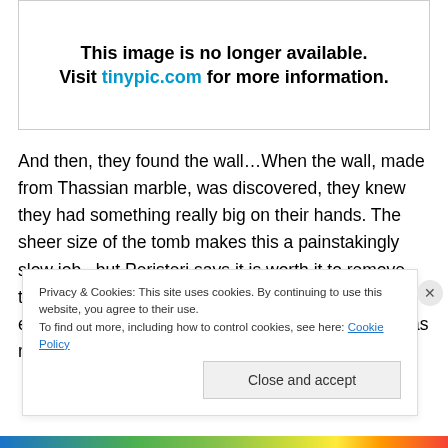[Figure (other): Broken image placeholder box with text: 'This image is no longer available. Visit tinypic.com for more information.']
And then, they found the wall…When the wall, made from Thassian marble, was discovered, they knew they had something really big on their hands. The sheer size of the tomb makes this a painstakingly slow job , but Peristeri says it is worth it to remove the soil grain by grain, because they are finding an enormous amount of things while doing this. She has rightfully resisted calls to go in
Privacy & Cookies: This site uses cookies. By continuing to use this website, you agree to their use. To find out more, including how to control cookies, see here: Cookie Policy